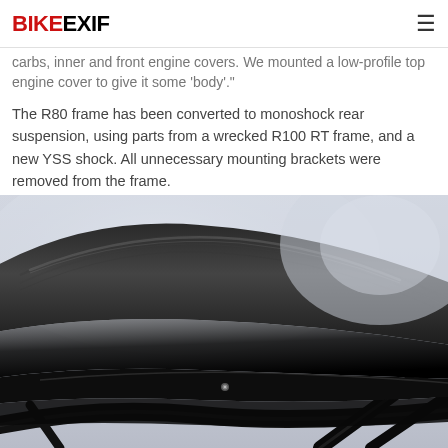BIKEEXIF
carbs, inner and front engine covers. We mounted a low-profile top engine cover to give it some 'body'."
The R80 frame has been converted to monoshock rear suspension, using parts from a wrecked R100 RT frame, and a new YSS shock. All unnecessary mounting brackets were removed from the frame.
[Figure (photo): Close-up photograph of a black motorcycle seat/saddle with glossy black frame rails against a light grey background]